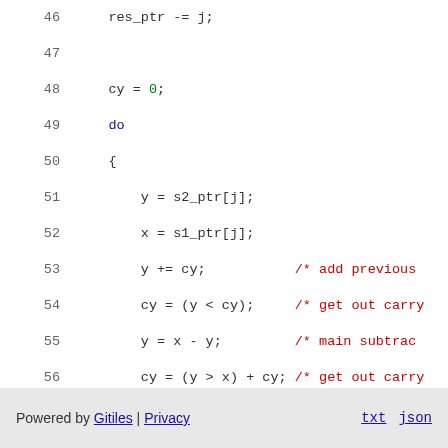Code listing lines 46-62 showing C subtraction loop with carry logic
Powered by Gitiles | Privacy    txt  json